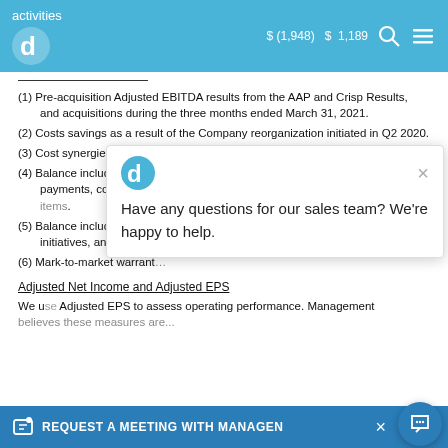activities   $ (1,948)   $ 1,189
(1) Pre-acquisition Adjusted EBITDA results from the AAP and Crisp Results, and acquisitions during the three months ended March 31, 2021.
(2) Costs savings as a result of the Company reorganization initiated in Q2 2020.
(3) Cost synergies expected as a result of the full integration of the acquisitions.
(4) Balance includes business combination transaction fees, acquisition incentive payments, contingent consideration accretion, earnout payments, and other items.
(5) Balance includes legal fees, other extraordinary matters, strategic initiatives, and private warrant activities.
(6) Mark-to-market warrant [text partially obscured]
Adjusted Net Income and Adjusted EPS
We use Adjusted Net Income and Adjusted EPS to assess operating performance. Management believes these measures are...